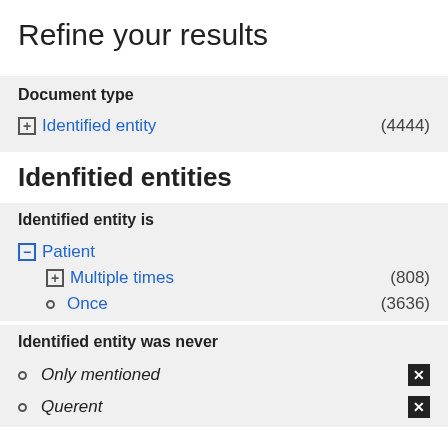Refine your results
Document type
Identified entity (4444)
Idenfitied entities
Identified entity is
Patient
Multiple times (808)
Once (3636)
Identified entity was never
Only mentioned
Querent